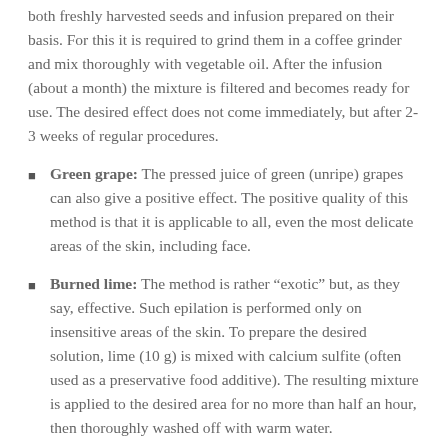both freshly harvested seeds and infusion prepared on their basis. For this it is required to grind them in a coffee grinder and mix thoroughly with vegetable oil. After the infusion (about a month) the mixture is filtered and becomes ready for use. The desired effect does not come immediately, but after 2-3 weeks of regular procedures.
Green grape: The pressed juice of green (unripe) grapes can also give a positive effect. The positive quality of this method is that it is applicable to all, even the most delicate areas of the skin, including face.
Burned lime: The method is rather “exotic” but, as they say, effective. Such epilation is performed only on insensitive areas of the skin. To prepare the desired solution, lime (10 g) is mixed with calcium sulfite (often used as a preservative food additive). The resulting mixture is applied to the desired area for no more than half an hour, then thoroughly washed off with warm water.
Related:   How to make your own natural lip scrub at home, the simplest recipes and the